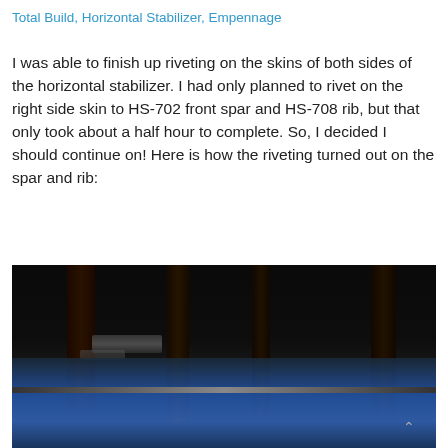Total Build, Horizontal Stabilizer, Empennage
I was able to finish up riveting on the skins of both sides of the horizontal stabilizer.  I had only planned to rivet on the right side skin to HS-702 front spar and HS-708 rib, but that only took about a half hour to complete.  So, I decided I should continue on!  Here is how the riveting turned out on the spar and rib:
[Figure (photo): Dark photograph showing close-up view of riveting on aircraft horizontal stabilizer spar and rib, with blue protective film on aluminum skin visible at bottom, dark structural elements visible in background.]